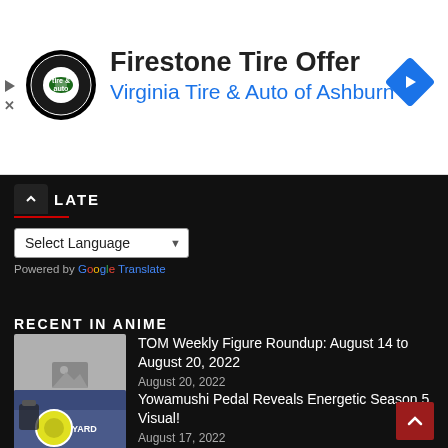[Figure (screenshot): Advertisement banner for Firestone Tire Offer from Virginia Tire & Auto of Ashburn with logo, title, subtitle, and navigation arrow icon]
Firestone Tire Offer
Virginia Tire & Auto of Ashburn ...
LATE
Select Language
Powered by Google Translate
RECENT IN ANIME
TOM Weekly Figure Roundup: August 14 to August 20, 2022
August 20, 2022
Yowamushi Pedal Reveals Energetic Season 5 Visual!
August 17, 2022